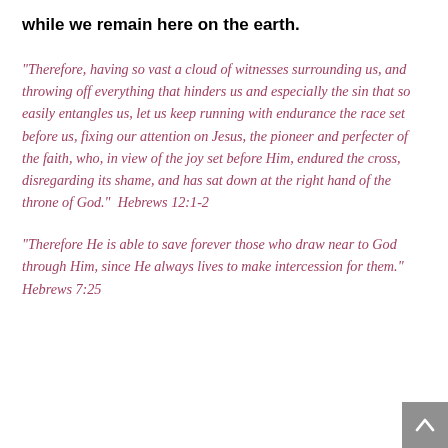while we remain here on the earth.
“Therefore, having so vast a cloud of witnesses surrounding us, and throwing off everything that hinders us and especially the sin that so easily entangles us, let us keep running with endurance the race set before us, fixing our attention on Jesus, the pioneer and perfecter of the faith, who, in view of the joy set before Him, endured the cross, disregarding its shame, and has sat down at the right hand of the throne of God.”  Hebrews 12:1-2
“Therefore He is able to save forever those who draw near to God through Him, since He always lives to make intercession for them.”  Hebrews 7:25